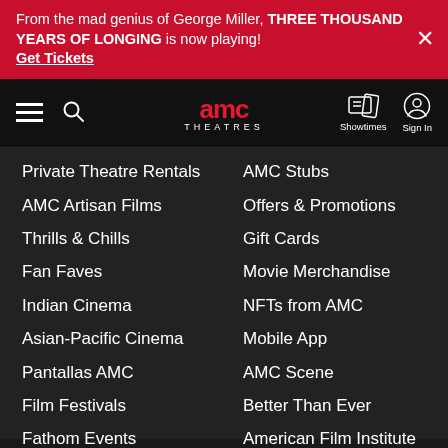From the mad genius of George Miller, THREE THOUSAND YEARS OF LONGING is now playing! Get Tickets
[Figure (logo): AMC Theatres navigation bar with hamburger menu, search icon, AMC Theatres logo, Showtimes icon, and Sign In icon]
Private Theatre Rentals
AMC Stubs
AMC Artisan Films
Offers & Promotions
Thrills & Chills
Gift Cards
Fan Faves
Movie Merchandise
Indian Cinema
NFTs from AMC
Asian-Pacific Cinema
Mobile App
Pantallas AMC
AMC Scene
Film Festivals
Better Than Ever
Fathom Events
American Film Institute
The Metropolitan Opera
Assistive Moviegoing
Sensory Friendly Films
Request Refund